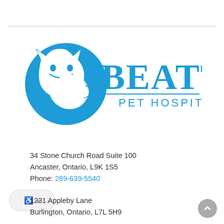[Figure (logo): Beattie Pet Hospital logo — blue circle with dog and cat silhouettes on the left, bold blue text 'BEATTIE' on the right with 'PET HOSPITAL' below in smaller spaced letters, separated by a horizontal line]
34 Stone Church Road Suite 100
Ancaster, Ontario, L9K 1S5
Phone: 289-639-5540
1231 Appleby Lane
Burlington, Ontario, L7L 5H9